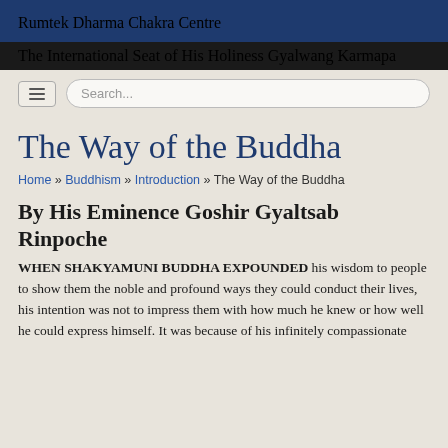Rumtek Dharma Chakra Centre
The International Seat of His Holiness Gyalwang Karmapa
Search...
The Way of the Buddha
Home » Buddhism » Introduction » The Way of the Buddha
By His Eminence Goshir Gyaltsab Rinpoche
WHEN SHAKYAMUNI BUDDHA EXPOUNDED his wisdom to people to show them the noble and profound ways they could conduct their lives, his intention was not to impress them with how much he knew or how well he could express himself. It was because of his infinitely compassionate